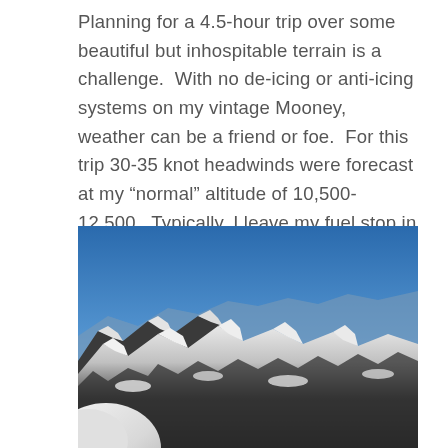Planning for a 4.5-hour trip over some beautiful but inhospitable terrain is a challenge. With no de-icing or anti-icing systems on my vintage Mooney, weather can be a friend or foe. For this trip 30-35 knot headwinds were forecast at my “normal” altitude of 10,500-12,500. Typically, I leave my fuel stop in Northern California and climb right up to cruising altitude. Due to the forecast winds I decided to fly low until reaching Redding, CA, then up and over the terrain.
[Figure (photo): Aerial photograph taken from inside an aircraft cockpit showing snow-capped mountain ranges below a deep blue sky. The white nose cowling of the aircraft is visible in the lower left corner. The mountains are rugged with dark rocky terrain covered in snow.]